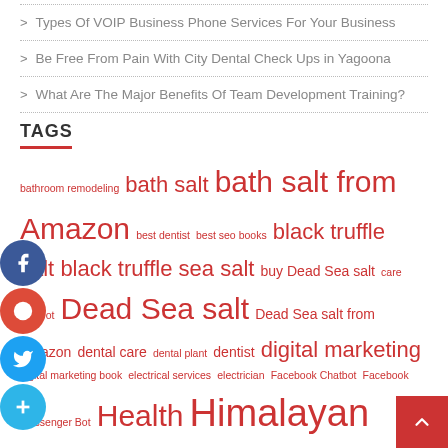> Types Of VOIP Business Phone Services For Your Business
> Be Free From Pain With City Dental Check Ups in Yagoona
> What Are The Major Benefits Of Team Development Training?
TAGS
bathroom remodeling bath salt bath salt from Amazon best dentist best seo books black truffle salt black truffle sea salt buy Dead Sea salt care chatbot Dead Sea salt Dead Sea salt from Amazon dental care dental plant dentist digital marketing digital marketing book electrical services electrician Facebook Chatbot Facebook Messenger Bot Health Himalayan pink salt Himalayan salt IT Services Messenger Bot Pink Himalayan